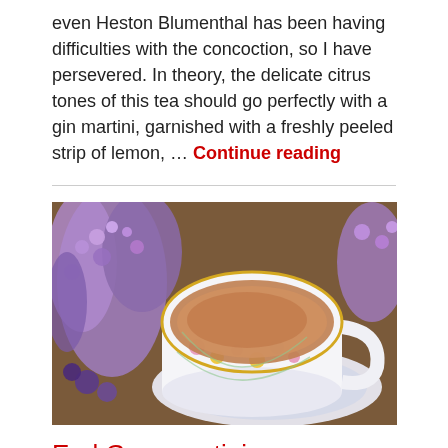even Heston Blumenthal has been having difficulties with the concoction, so I have persevered. In theory, the delicate citrus tones of this tea should go perfectly with a gin martini, garnished with a freshly peeled strip of lemon, … Continue reading
[Figure (photo): A floral-patterned porcelain teacup filled with tea on a saucer, surrounded by purple wildflowers on a wooden surface]
Earl Grey martini
Continuing my love of tea, I made some Earl Grey